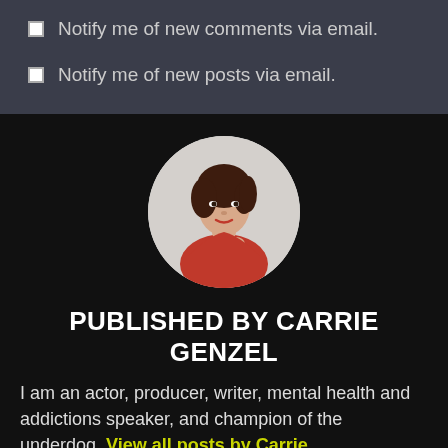Notify me of new comments via email.
Notify me of new posts via email.
[Figure (photo): Circular profile photo of Carrie Genzel, a woman with dark hair wearing a red outfit, posed against a light background.]
PUBLISHED BY CARRIE GENZEL
I am an actor, producer, writer, mental health and addictions speaker, and champion of the underdog. View all posts by Carrie